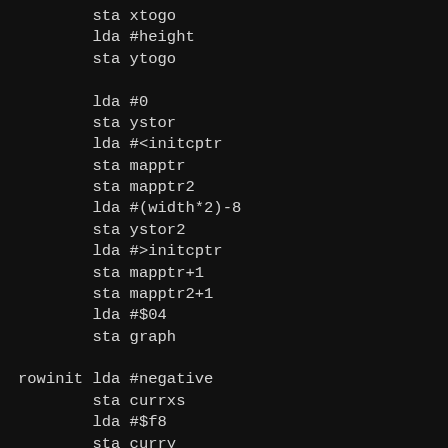sta xtogo
        lda #height
        sta ytogo

        lda #0
        sta ystor
        lda #<initcptr
        sta mapptr
        sta mapptr2
        lda #(width*2)-8
        sta ystor2
        lda #>initcptr
        sta mapptr+1
        sta mapptr2+1
        lda #$04
        sta graph

rowinit lda #negative
        sta currxs
        lda #$f8
        sta curry